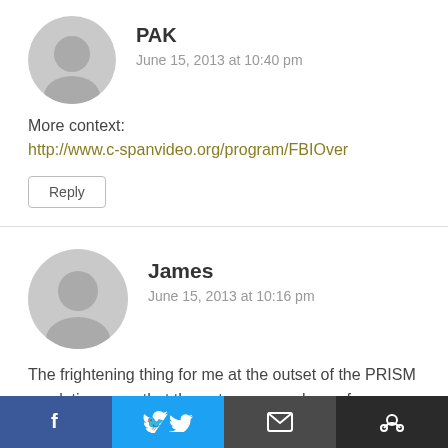PAK
June 15, 2013 at 10:40 pm
More context:
http://www.c-spanvideo.org/program/FBIOver
Reply
James
June 15, 2013 at 10:16 pm
The frightening thing for me at the outset of the PRISM revelations was that the not even members of Congress were aware of the reach of the program, let alone the American people. I reiterate now that maybe the original story wasn't so truly outrageous, but what it did was raise